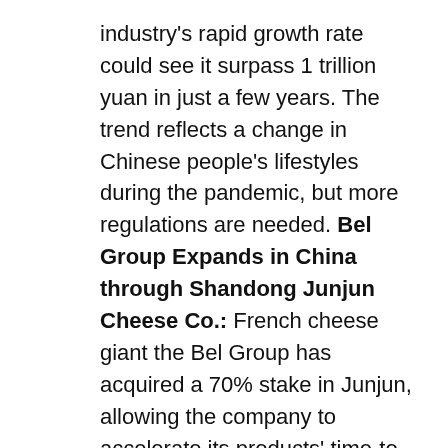industry's rapid growth rate could see it surpass 1 trillion yuan in just a few years. The trend reflects a change in Chinese people's lifestyles during the pandemic, but more regulations are needed. Bel Group Expands in China through Shandong Junjun Cheese Co.: French cheese giant the Bel Group has acquired a 70% stake in Junjun, allowing the company to accelerate its products' time-to-market. Cheese sales in China are forecast to grow 8% a year from 2020–2025, with demand expected to outstrip supply. Cheese is the preferred snacking category for over 50% of Chinese in 2021, with a strong focus on processed cheese, according to Bel Group. The key to opening the market rests on offering innovations adapted to Chinese consumers' tastes and preferences